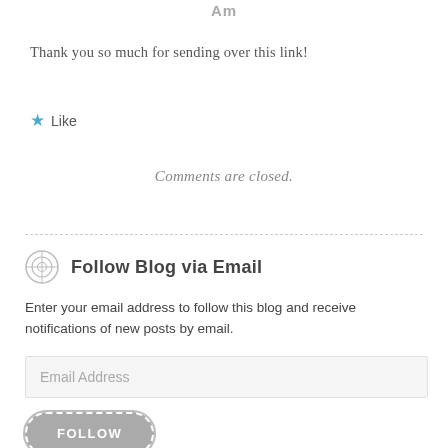Am
Thank you so much for sending over this link!
★ Like
Comments are closed.
Follow Blog via Email
Enter your email address to follow this blog and receive notifications of new posts by email.
Email Address
FOLLOW